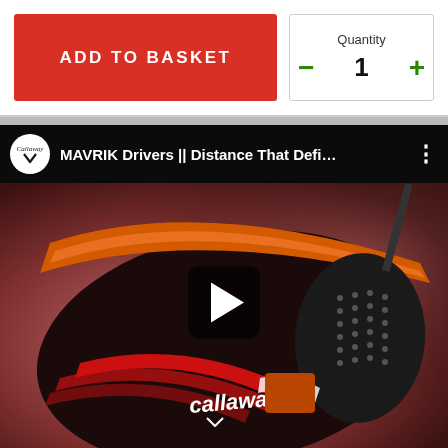ADD TO BASKET
Quantity
−  1  +
[Figure (screenshot): YouTube video thumbnail for Callaway MAVRIK Drivers showing a close-up of a Callaway MAVRIK golf driver head with orange and red accents. Video title: 'MAVRIK Drivers || Distance That Defi...' with a play button overlay and Callaway channel logo.]